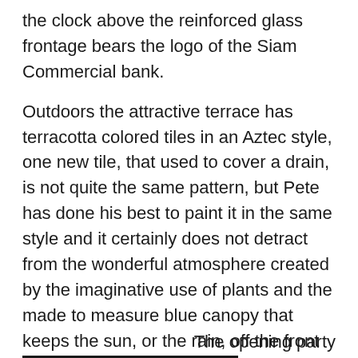the clock above the reinforced glass frontage bears the logo of the Siam Commercial bank.
Outdoors the attractive terrace has terracotta colored tiles in an Aztec style, one new tile, that used to cover a drain, is not quite the same pattern, but Pete has done his best to paint it in the same style and it certainly does not detract from the wonderful atmosphere created by the imaginative use of plants and the made to measure blue canopy that keeps the sun, or the rain, off the front terrace.
The toilets at Koi’s are as spotlessly clean as the rest of the cafe and can be found behind a ceiling to floor black curtain that blocks off the rooms in the building that are not related to the coffee area and keeps the aircon working efficiently.
The opening party